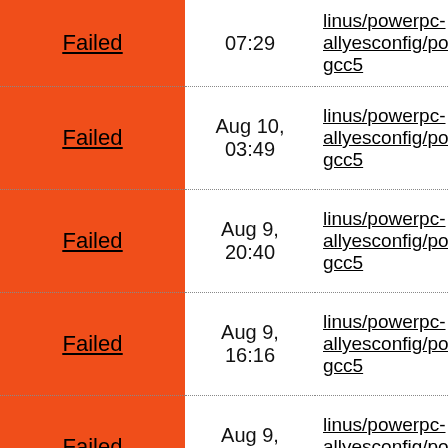| Status | Date | Branch |
| --- | --- | --- |
| Failed | 07:29 | linus/powerpc-allyesconfig/powerpc-gcc5 |
| Failed | Aug 10, 03:49 | linus/powerpc-allyesconfig/powerpc-gcc5 |
| Failed | Aug 9, 20:40 | linus/powerpc-allyesconfig/powerpc-gcc5 |
| Failed | Aug 9, 16:16 | linus/powerpc-allyesconfig/powerpc-gcc5 |
| Failed | Aug 9, 07:46 | linus/powerpc-allyesconfig/powerpc-gcc5 |
| Failed | Aug 9, 04:09 | linus/powerpc-allyesconfig/powerpc-gcc5 |
| Failed | Aug 8, 11:39 | linus/powerpc-allyesconfig/powerpc-gcc5 |